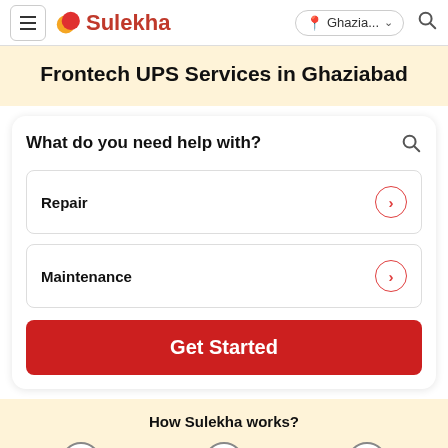Sulekha — Ghazia... (location dropdown) — Search
Frontech UPS Services in Ghaziabad
What do you need help with?
Repair
Maintenance
Get Started
How Sulekha works?
1 — Share your
2 — Get Multiple
3 — Compare, Hire & Get